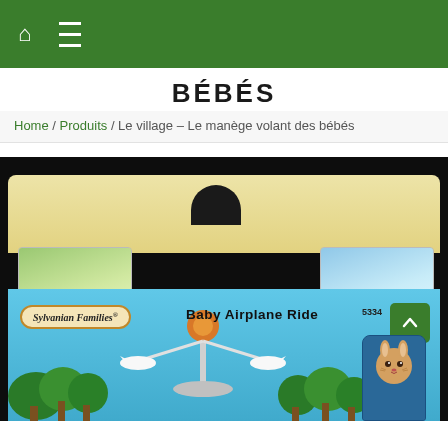🏠 ☰
BÉBÉS
Home / Produits / Le village – Le manège volant des bébés
[Figure (photo): Back of Sylvanian Families Baby Airplane Ride product box (item 5334), showing beige panel with hanging hole, two picture cards on sides, and lower blue product box section with Sylvanian Families badge, 'Baby Airplane Ride' text, trees, merry-go-round figure, and a bunny figure in blue seat. A green scroll-to-top button overlays the image.]